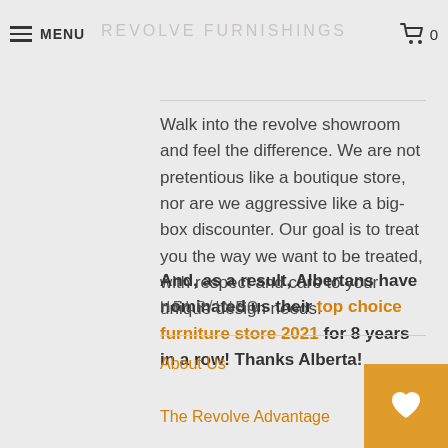MENU | REVOLVE FURNISHINGS | 0
Walk into the revolve showroom and feel the difference. We are not pretentious like a boutique store, nor are we aggressive like a big-box discounter. Our goal is to treat you the way we want to be treated, with respect and care to your unique design needs.
And, as a result, Albertans have nominated us their top choice furniture store 2021 for 8 years in a row! Thanks Alberta!
HELP/INFO
About Us
The Revolve Advantage